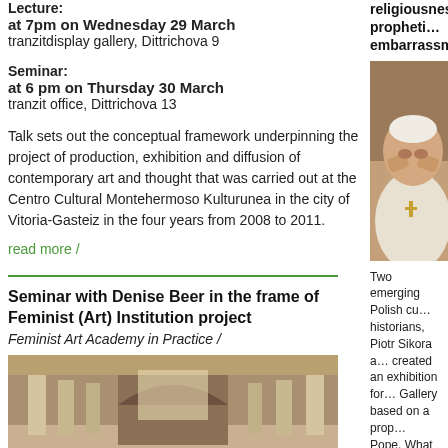Lecture:
at 7pm on Wednesday 29 March
tranzitdisplay gallery, Dittrichova 9
Seminar:
at 6 pm on Thursday 30 March
tranzit office, Dittrichova 13
Talk sets out the conceptual framework underpinning the project of production, exhibition and diffusion of contemporary art and thought that was carried out at the Centro Cultural Montehermoso Kulturunea in the city of Vitoria-Gasteiz in the four years from 2008 to 2011.
read more /
Seminar with Denise Beer in the frame of Feminist (Art) Institution project
Feminist Art Academy in Practice /
[Figure (photo): Interior of a classical building with columns and arched gallery]
religiousness, propheti… embarrassment
[Figure (photo): Elderly man in white papal vestments rubbing his eyes]
Two emerging Polish cu… historians, Piotr Sikora a… created an exhibition for… Gallery based on a prop… Pope. What does such p… one of the most atheist E… How does the local art s… religious content in a wo…
read more /